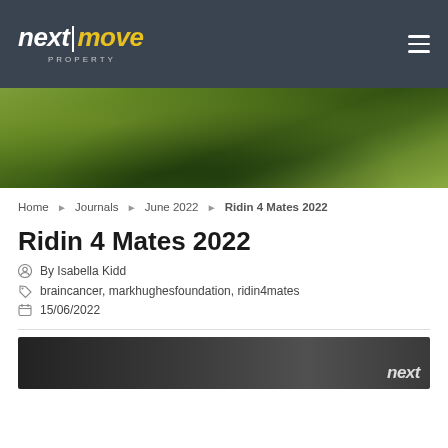next|move PROPERTY
[Figure (photo): Panoramic header photo of lush green vineyard or dense trees under a dramatic sky]
Home > Journals > June 2022 > Ridin 4 Mates 2022
Ridin 4 Mates 2022
By Isabella Kidd
braincancer, markhughesfoundation, ridin4mates
15/06/2022
[Figure (photo): Partial view of a dark/black-and-white photo at bottom of page with 'next' logo watermark]